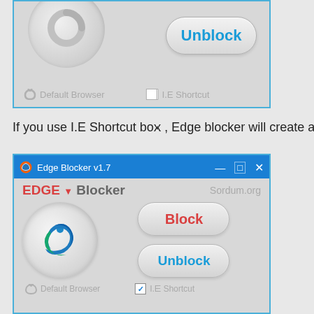[Figure (screenshot): Edge Blocker application screenshot showing top portion with grey logo circle, Unblock button in blue text, Default Browser and I.E Shortcut options at bottom]
If you use I.E Shortcut box , Edge blocker will create a internet explor...
[Figure (screenshot): Edge Blocker v1.7 application window with blue title bar, Edge logo, EDGE Blocker header with Sordum.org, Block and Unblock buttons, Default Browser and I.E Shortcut (checked) at bottom]